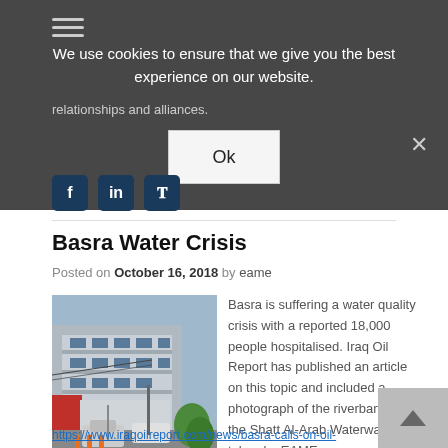We use cookies to ensure that we give you the best experience on our website.
relationships and alliances.
Basra Water Crisis
Posted on October 16, 2018 by eame
[Figure (photo): Street-level photograph showing a multi-storey building with blue accents and parked cars in the foreground, Basra.]
Basra is suffering a water quality crisis with a reported 18,000 people hospitalised. Iraq Oil Report has published an article on this topic and included a photograph of the riverbank of the Shatt Al-Arab Waterway taken by EAME.
https://www.iraqoilreport.com/news/basra-calls-on-oil-